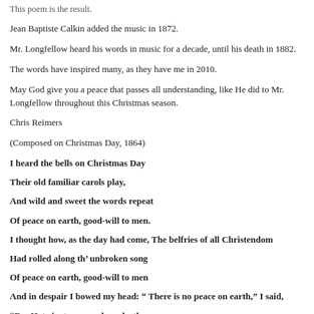This poem is the result.
Jean Baptiste Calkin added the music in 1872.
Mr. Longfellow heard his words in music for a decade, until his death in 1882.
The words have inspired many, as they have me in 2010.
May God give you a peace that passes all understanding, like He did to Mr. Longfellow throughout this Christmas season.
Chris Reimers
(Composed on Christmas Day, 1864)
I heard the bells on Christmas Day
Their old familiar carols play,
And wild and sweet the words repeat
Of peace on earth, good-will to men.
I thought how, as the day had come, The belfries of all Christendom
Had rolled along th’ unbroken song
Of peace on earth, good-will to men
And in despair I bowed my head: “ There is no peace on earth,” I said,
“For Hate is strong, and mocks the song